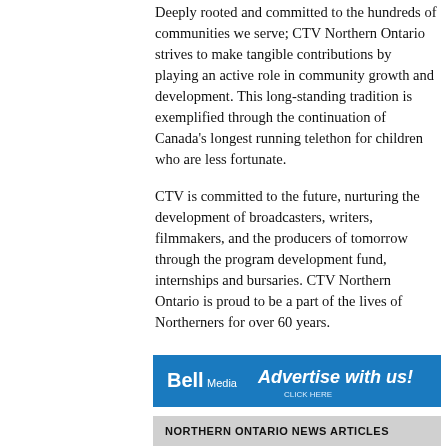Deeply rooted and committed to the hundreds of communities we serve; CTV Northern Ontario strives to make tangible contributions by playing an active role in community growth and development. This long-standing tradition is exemplified through the continuation of Canada's longest running telethon for children who are less fortunate.
CTV is committed to the future, nurturing the development of broadcasters, writers, filmmakers, and the producers of tomorrow through the program development fund, internships and bursaries. CTV Northern Ontario is proud to be a part of the lives of Northerners for over 60 years.
[Figure (other): Bell Media 'Advertise with us! CLICK HERE' banner advertisement in blue]
NORTHERN ONTARIO NEWS ARTICLES
[Figure (photo): Partial photo strip showing people, one wearing a purple/maroon hat]